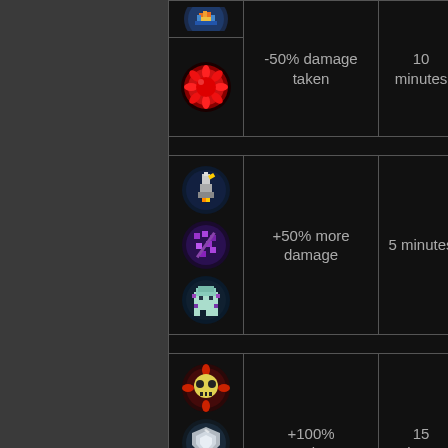| Icon | Effect | Duration |
| --- | --- | --- |
| [icons: fire+red-orb] | -50% damage taken | 10 minutes |
| [icons: rocket+purple-wand+ghost] | +50% more damage | 5 minutes |
| [icons: skull+shield+dark-orb] | +100% experience | 15 minutes |
| [icon: red-orb2] |  |  |